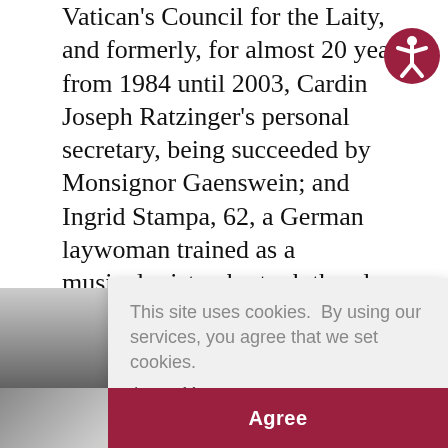Vatican's Council for the Laity, and formerly, for almost 20 years, from 1984 until 2003, Cardinal Joseph Ratzinger's personal secretary, being succeeded by Monsignor Gaenswein; and Ingrid Stampa, 62, a German laywoman trained as a musicologist, who took the place of Joseph Ratzinger sister, Maria, who had been Ratzinger's housekeeper in Rome until her death in 1991, and who is regarded as one of the Pope's closest confidants.
[Figure (photo): Partial photo of a person visible at bottom left of the page, mostly obscured by the cookie consent overlay.]
This site uses cookies. By using our services, you agree that we set cookies. Learn More
Agree